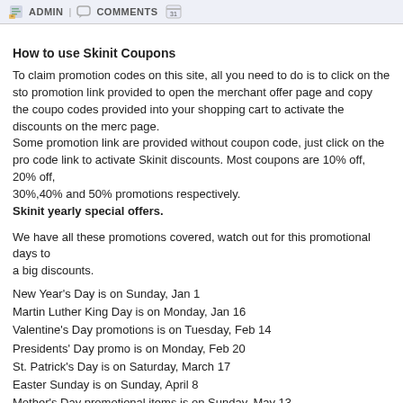ADMIN | COMMENTS
How to use Skinit Coupons
To claim promotion codes on this site, all you need to do is to click on the store promotion link provided to open the merchant offer page and copy the coupon codes provided into your shopping cart to activate the discounts on the merchant page.
Some promotion link are provided without coupon code, just click on the promotion code link to activate Skinit discounts. Most coupons are 10% off, 20% off, 30%,40% and 50% promotions respectively.
Skinit yearly special offers.
We have all these promotions covered, watch out for this promotional days to get a big discounts.
New Year's Day is on Sunday, Jan 1
Martin Luther King Day is on Monday, Jan 16
Valentine's Day promotions is on Tuesday, Feb 14
Presidents' Day promo is on Monday, Feb 20
St. Patrick's Day is on Saturday, March 17
Easter Sunday is on Sunday, April 8
Mother's Day promotional items is on Sunday, May 13
Memorial Day coupons is on Monday, May 28
Father's Day deals is on Sunday, Jun 17
Independence Day is on Monday, July 4
Labor Day is on Monday, Sep 5